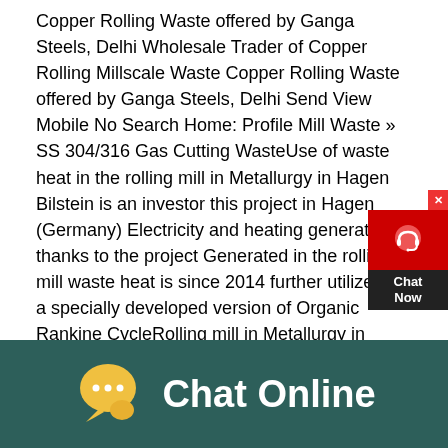Copper Rolling Waste offered by Ganga Steels, Delhi Wholesale Trader of Copper Rolling Millscale Waste Copper Rolling Waste offered by Ganga Steels, Delhi Send View Mobile No Search Home: Profile Mill Waste » SS 304/316 Gas Cutting WasteUse of waste heat in the rolling mill in Metallurgy in Hagen Bilstein is an investor this project in Hagen (Germany) Electricity and heating generated thanks to the project Generated in the rolling mill waste heat is since 2014 further utilized in a specially developed version of Organic Rankine CycleRolling mill in Metallurgy in Hagen | Waste Heatproduction problems early on so mill operators can intervene before more damage results Secondly, it avoids the production of waste material and prevents time and energy from being spent on defective products in later stages of production Melt shop/ billet production Rolling mill Processing Final
[Figure (screenshot): Chat widget with red background showing a headset/support icon, close button (x), and 'Chat Now' label in dark background]
[Figure (infographic): Dark teal bottom bar with yellow speech bubble chat icon and white text reading 'Chat Online']